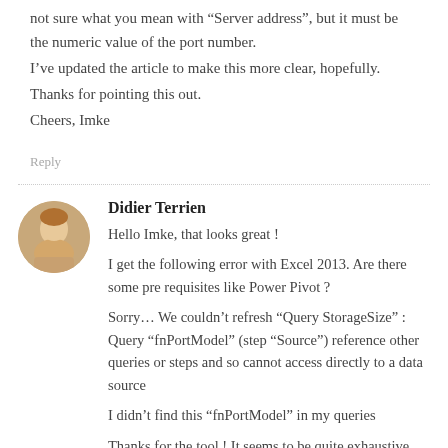not sure what you mean with “Server address”, but it must be the numeric value of the port number.
I’ve updated the article to make this more clear, hopefully.
Thanks for pointing this out.
Cheers, Imke
Reply
Didier Terrien
Hello Imke, that looks great !
I get the following error with Excel 2013. Are there some pre requisites like Power Pivot ?

Sorry… We couldn’t refresh “Query StorageSize” : Query “fnPortModel” (step “Source”) reference other queries or steps and so cannot access directly to a data source

I didn’t find this “fnPortModel” in my queries
Thanks for the tool ! It seems to be quite exhaustive